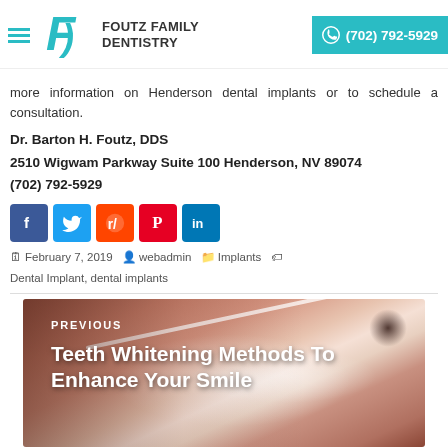FOUTZ FAMILY DENTISTRY | (702) 792-5929
more information on Henderson dental implants or to schedule a consultation.
Dr. Barton H. Foutz, DDS
2510 Wigwam Parkway Suite 100 Henderson, NV 89074
(702) 792-5929
[Figure (infographic): Social media sharing icons: Facebook, Twitter, Reddit, Pinterest, LinkedIn]
February 7, 2019   webadmin   Implants   Dental Implant, dental implants
[Figure (photo): Previous post thumbnail showing a person smiling with white teeth and a dental whitening strip, with overlay text: PREVIOUS — Teeth Whitening Methods To Enhance Your Smile]